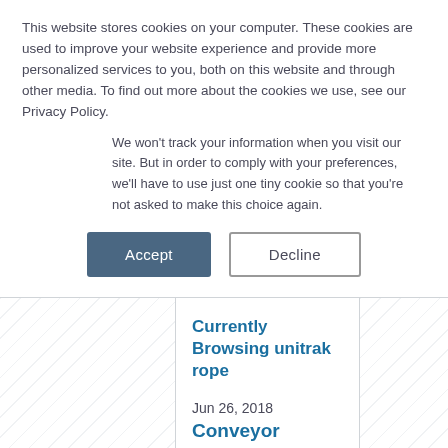This website stores cookies on your computer. These cookies are used to improve your website experience and provide more personalized services to you, both on this website and through other media. To find out more about the cookies we use, see our Privacy Policy.
We won't track your information when you visit our site. But in order to comply with your preferences, we'll have to use just one tiny cookie so that you're not asked to make this choice again.
Accept
Decline
Currently Browsing unitrak rope
Jun 26, 2018
Conveyor Replacement Parts – Why Pay More?
READ MORE